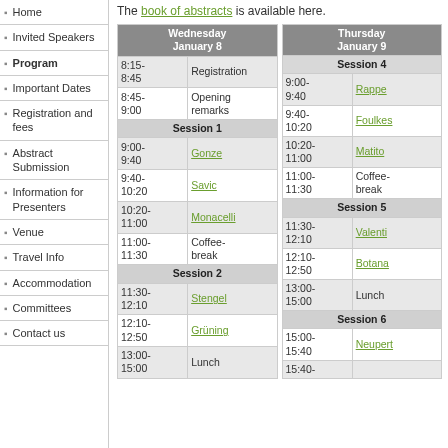Home
Invited Speakers
Program
Important Dates
Registration and fees
Abstract Submission
Information for Presenters
Venue
Travel Info
Accommodation
Committees
Contact us
The book of abstracts is available here.
| Wednesday January 8 |  | Thursday January 9 |  |
| --- | --- | --- | --- |
| 8:15-8:45 | Registration |  |  |
| 8:45-9:00 | Opening remarks |  |  |
| Session 1 |  |  |  |
| 9:00-9:40 | Gonze | 9:00-9:40 | Rappe |
| 9:40-10:20 | Savic | 9:40-10:20 | Foulkes |
| 10:20-11:00 | Monacelli | 10:20-11:00 | Matito |
| 11:00-11:30 | Coffee-break | 11:00-11:30 | Coffee-break |
| Session 2 |  | Session 5 |  |
| 11:30-12:10 | Stengel | 11:30-12:10 | Valenti |
| 12:10-12:50 | Grüning | 12:10-12:50 | Botana |
| 13:00-15:00 | Lunch | 13:00-15:00 | Lunch |
|  |  | Session 6 |  |
|  |  | 15:00-15:40 | Neupert |
|  |  | 15:40- |  |